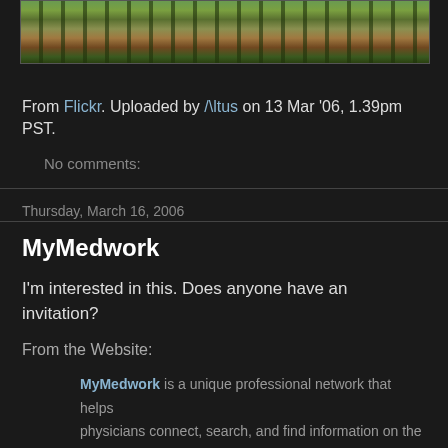[Figure (photo): Partial forest/nature photograph showing trees with autumn colors, cropped at top]
From Flickr. Uploaded by /\ltus on 13 Mar '06, 1.39pm PST.
No comments:
Thursday, March 16, 2006
MyMedwork
I'm interested in this. Does anyone have an invitation?
From the Website:
MyMedwork is a unique professional network that helps physicians connect, search, and find information on the basis of trusted relationships.
Member Benefits: